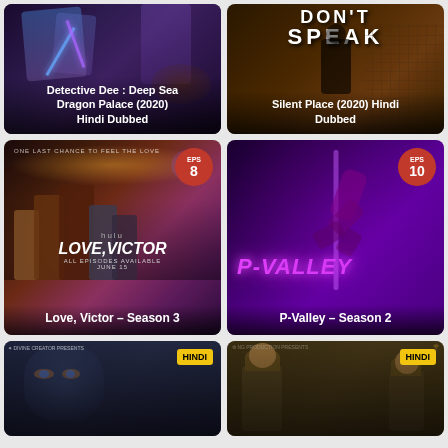[Figure (photo): Movie poster for Detective Dee: Deep Sea Dragon Palace (2020) Hindi Dubbed, dark fantasy/action theme with characters and blue light effects]
[Figure (photo): Movie poster for Silent Place (2020) Hindi Dubbed, dark thriller theme with DON'T SPEAK text visible at top]
[Figure (photo): TV show poster for Love, Victor - Season 3 on Hulu, showing group of young people with purple/orange lighting, EPS 8 badge]
[Figure (photo): TV show poster for P-Valley - Season 2, dark purple theme with a pole dancer silhouette, EPS 10 badge, P-VALLEY neon text]
[Figure (photo): Movie poster bottom left, dark close-up face with blue tones, HINDI badge]
[Figure (photo): Movie poster bottom right, period drama with turbaned men, HINDI badge]